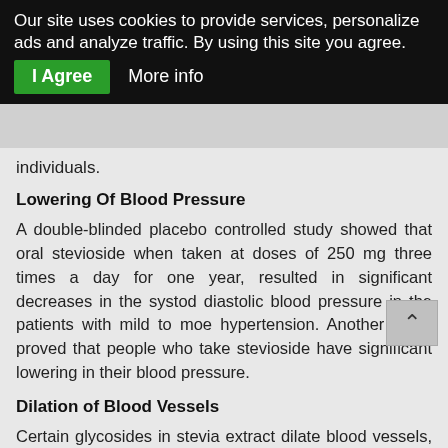Our site uses cookies to provide services, personalize ads and analyze traffic. By using this site you agree. I Agree   More info
individuals.
Lowering Of Blood Pressure
A double-blinded placebo controlled study showed that oral stevioside when taken at doses of 250 mg three times a day for one year, resulted in significant decreases in the systolic and diastolic blood pressure in the patients with mild to moderate hypertension. Another study proved that people who take stevioside have significant lowering in their blood pressure.
Dilation of Blood Vessels
Certain glycosides in stevia extract dilate blood vessels, increase sodium excretion and urine output. All these effects can be beneficial for patients with heart disease and hypertension.
Vital Minerals
Other than being a herb, stevia contains vital minerals and